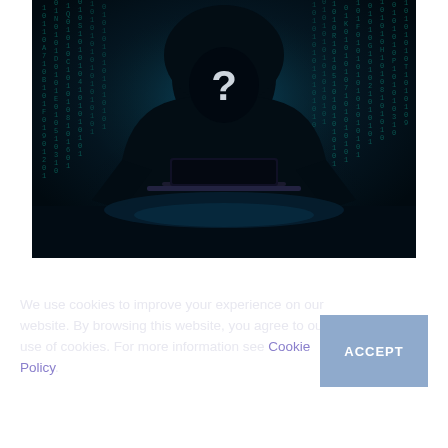[Figure (photo): A dark, moody photo of a hooded anonymous figure (hacker) sitting at a laptop with a question mark visible in the face area, against a background of streaming binary/digital code in teal/cyan tones on a dark background.]
We use cookies to improve your experience on our website. By browsing this website, you agree to our use of cookies. For more information see Cookie Policy.